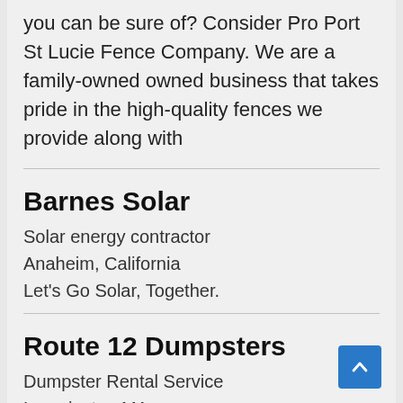you can be sure of? Consider Pro Port St Lucie Fence Company. We are a family-owned owned business that takes pride in the high-quality fences we provide along with
Barnes Solar
Solar energy contractor
Anaheim, California
Let's Go Solar, Together.
Route 12 Dumpsters
Dumpster Rental Service
Leominster, MA